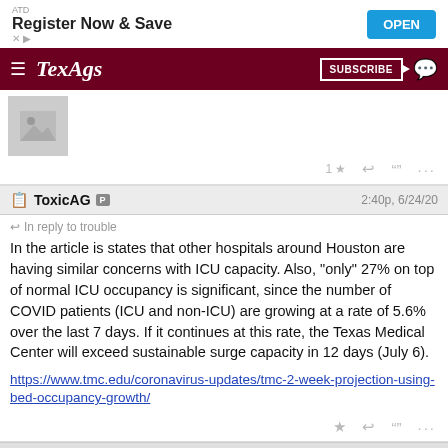[Figure (screenshot): Ad banner: ATD Register Now & Save with OPEN button]
TexAgs — SUBSCRIBE navigation bar
[Figure (photo): Image placeholder with mountain/photo icon]
1 ★  reply  quote  ...
ToxicAG P  2:40p, 6/24/20
In reply to trouble
In the article is states that other hospitals around Houston are having similar concerns with ICU capacity. Also, "only" 27% on top of normal ICU occupancy is significant, since the number of COVID patients (ICU and non-ICU) are growing at a rate of 5.6% over the last 7 days. If it continues at this rate, the Texas Medical Center will exceed sustainable surge capacity in 12 days (July 6).
https://www.tmc.edu/coronavirus-updates/tmc-2-week-projection-using-bed-occupancy-growth/
★  reply  quote  ...
trouble L AG 12 ☁ ★  2:51p, 6/24/20